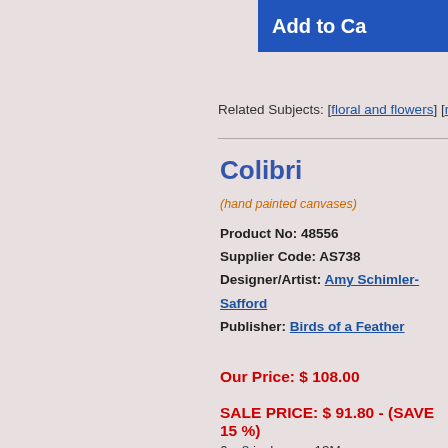[Figure (screenshot): Add to Cart button, blue background, white text, partially cropped at top right]
Related Subjects: [floral and flowers] [rabbits...]
Colibri
(hand painted canvases)
Product No: 48556
Supplier Code: AS738
Designer/Artist: Amy Schimler-Safford
Publisher: Birds of a Feather
Our Price: $ 108.00
SALE PRICE: $ 91.80 - (SAVE 15 %)
6 x 8 inches on 13M
[Figure (photo): Needlepoint canvas showing a hummingbird (colibri) with green leaves and yellow/orange bird on a green background, pixelated needlepoint texture visible]